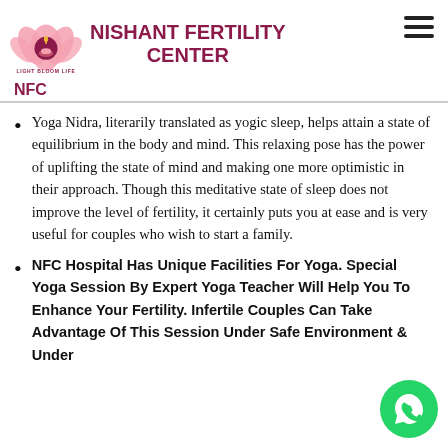NISHANT FERTILITY CENTER NFC
Yoga Nidra, literarily translated as yogic sleep, helps attain a state of equilibrium in the body and mind. This relaxing pose has the power of uplifting the state of mind and making one more optimistic in their approach. Though this meditative state of sleep does not improve the level of fertility, it certainly puts you at ease and is very useful for couples who wish to start a family.
NFC Hospital Has Unique Facilities For Yoga. Special Yoga Session By Expert Yoga Teacher Will Help You To Enhance Your Fertility. Infertile Couples Can Take Advantage Of This Session Under Safe Environment & Under